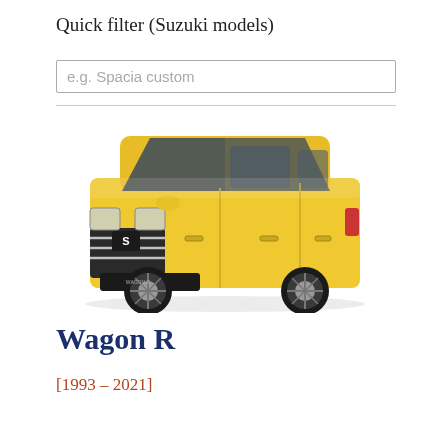Quick filter (Suzuki models)
e.g. Spacia custom
[Figure (photo): Yellow Suzuki Wagon R kei car shown from a front three-quarter angle on a white background]
Wagon R
[1993 – 2021]